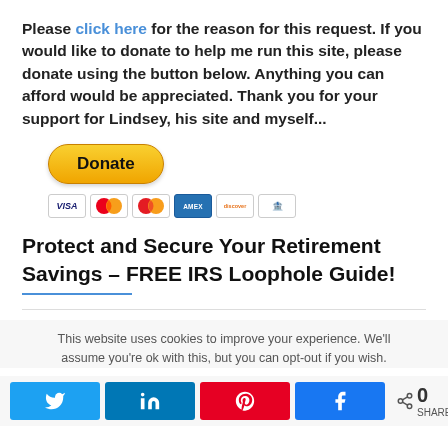Please click here for the reason for this request. If you would like to donate to help me run this site, please donate using the button below. Anything you can afford would be appreciated. Thank you for your support for Lindsey, his site and myself...
[Figure (other): PayPal Donate button (yellow pill-shaped) with credit card icons below (Visa, Mastercard, Mastercard variant, American Express, Discover, generic card)]
Protect and Secure Your Retirement Savings – FREE IRS Loophole Guide!
This website uses cookies to improve your experience. We'll assume you're ok with this, but you can opt-out if you wish.
[Figure (other): Social share buttons: Twitter, LinkedIn, Pinterest, Facebook, with share count showing 0 SHARES]